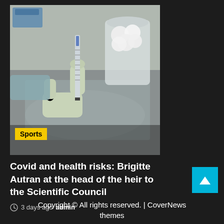[Figure (photo): Lab photo showing gloved hands holding a test tube or syringe over a metal tray, with cotton balls in a glass jar in the background]
Sports
Covid and health risks: Brigitte Autran at the head of the heir to the Scientific Council
3 days ago  admin
Copyright © All rights reserved. | CoverNews themes